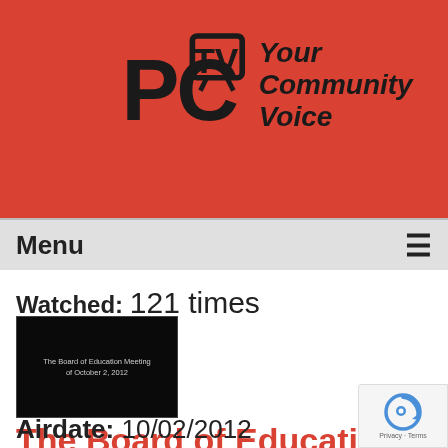[Figure (logo): PCTV logo with stylized PC and TV text in black on red background, with tagline 'Your Community Voice' in bold italic]
Menu ☰
Watched: 121 times
[Figure (screenshot): Black thumbnail image with white small text reading 'The Board of Education Meeting of October 2, 2012']
The Board of Education Meeting of 10-02-12
Airdate: 10/02/2012